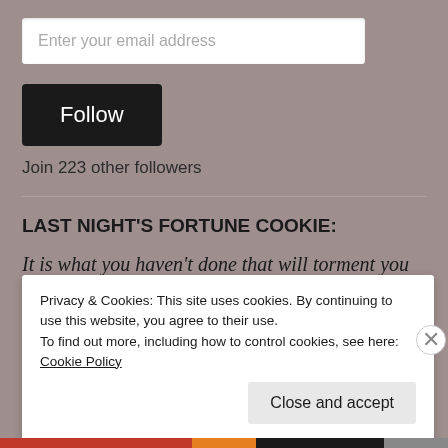Enter your email address
Follow
Join 223 other followers
LAST NIGHT'S FORTUNE COOKIE:
It is what you haven't done that will torment you
Privacy & Cookies: This site uses cookies. By continuing to use this website, you agree to their use.
To find out more, including how to control cookies, see here: Cookie Policy
Close and accept